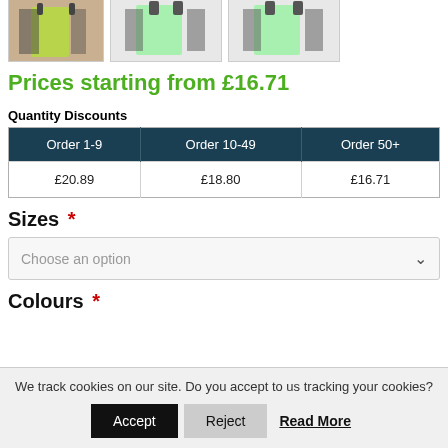[Figure (photo): Three product images of a green running vest/bib, shown from different angles]
Prices starting from £16.71
Quantity Discounts
| Order 1-9 | Order 10-49 | Order 50+ |
| --- | --- | --- |
| £20.89 | £18.80 | £16.71 |
Sizes *
Choose an option
Colours *
We track cookies on our site. Do you accept to us tracking your cookies? Accept  Reject  Read More